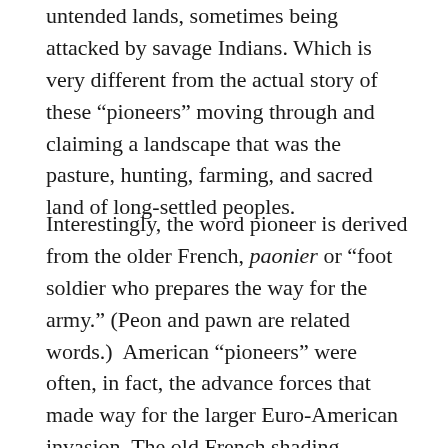untended lands, sometimes being attacked by savage Indians. Which is very different from the actual story of these “pioneers” moving through and claiming a landscape that was the pasture, hunting, farming, and sacred land of long-settled peoples.
Interestingly, the word pioneer is derived from the older French, paonier or “foot soldier who prepares the way for the army.” (Peon and pawn are related words.)  American “pioneers” were often, in fact, the advance forces that made way for the larger Euro-American invasion. The old French shading suggests the military aspect of taking the land, while on the other hand the root word peon points to the lowly status of the squatters and land tenants who were the leading edge of colonization,